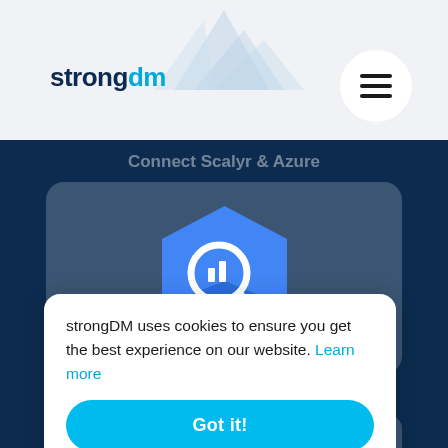strongDM
Connect Scalyr & Azure
[Figure (logo): BigQuery hexagon icon — blue gradient hexagon with white magnifying glass / chart icon in center]
Connect Scalyr & BigQuery
strongDM uses cookies to ensure you get the best experience on our website. Learn more
Got it!